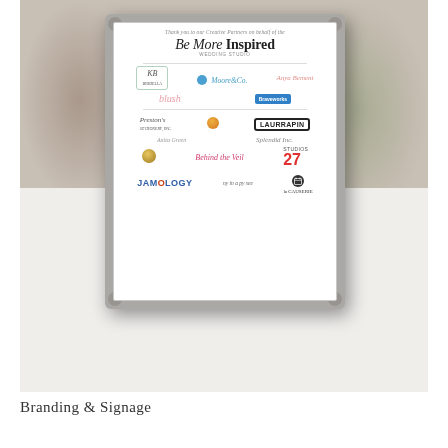[Figure (photo): A photograph of a framed sponsor/vendor thank-you sign for 'Be More Inspired Wedding Studio' displayed on a white surface. The silver ornate frame contains logos of various creative partners including KB Bridella, Moore & Co., Anya Bement, blush, Braveworks, Preston's Stationery Inc., Laurrapin, Splendid Inc., Behind the Veil, 27 Studios, Jamology, and La Causerie. The frame sits on a white table with a blurred background showing neutral/greenery tones.]
Branding & Signage